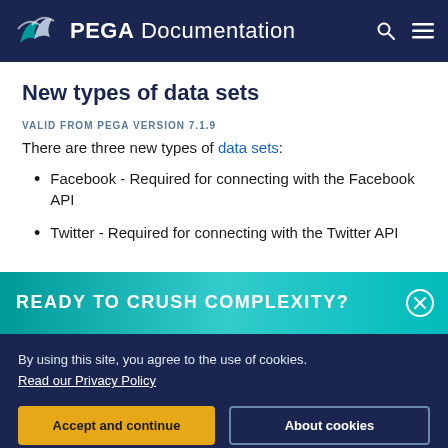PEGA Documentation
New types of data sets
VALID FROM PEGA VERSION 7.1.9
There are three new types of data sets:
Facebook - Required for connecting with the Facebook API
Twitter - Required for connecting with the Twitter API
[Figure (other): Ad banner reading READY TO CRUSH COMPLEXITY? with a close button]
By using this site, you agree to the use of cookies. Read our Privacy Policy
Accept and continue | About cookies